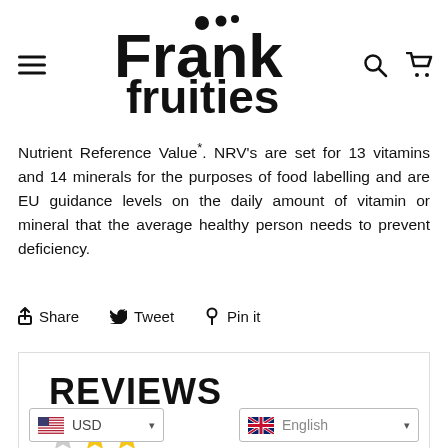[Figure (logo): Frank fruities logo with dots above the letter i in Frank, bold black text]
Nutrient Reference Value*. NRV's are set for 13 vitamins and 14 minerals for the purposes of food labelling and are EU guidance levels on the daily amount of vitamin or mineral that the average healthy person needs to prevent deficiency.
Share  Tweet  Pin it
REVIEWS
USD (currency selector) | English (language selector)